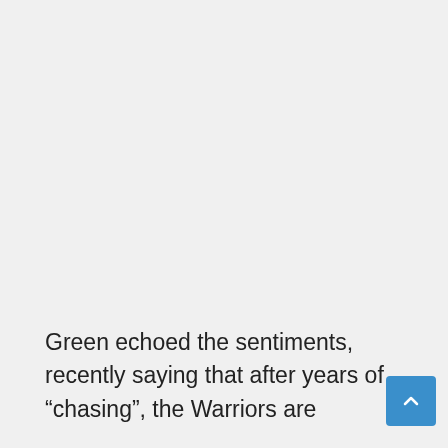Green echoed the sentiments, recently saying that after years of “chasing”, the Warriors are